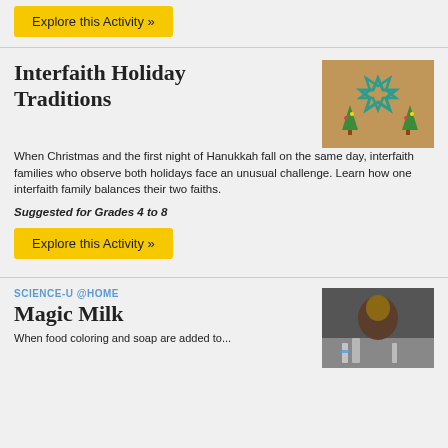Explore this Activity »
Interfaith Holiday Traditions
[Figure (photo): Holiday ornaments including a Star of David and Christmas tree decorations on a wooden surface]
When Christmas and the first night of Hanukkah fall on the same day, interfaith families who observe both holidays face an unusual challenge. Learn how one interfaith family balances their two faiths.
Suggested for Grades 4 to 8
Explore this Activity »
SCIENCE-U @HOME
Magic Milk
[Figure (photo): A student or child looking closely at a science experiment, possibly with lab equipment]
When food coloring and soap are added to...